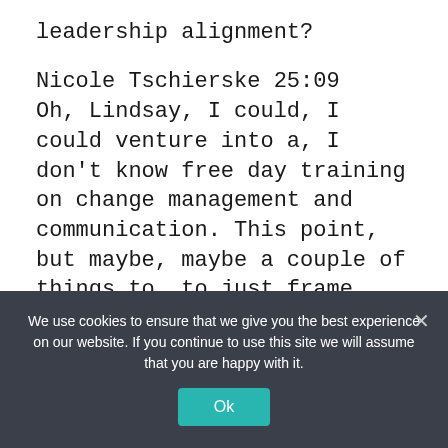leadership alignment?
Nicole Tschierske 25:09
Oh, Lindsay, I could, I could venture into a, I don't know free day training on change management and communication. This point, but maybe, maybe a couple of things to, to just frame that.
Nicole Tschierske 25:30
First of all, you're so let's start with attitude. So don't consider them your enemy, or to pick the person you need to get something
We use cookies to ensure that we give you the best experience on our website. If you continue to use this site we will assume that you are happy with it.
Ok